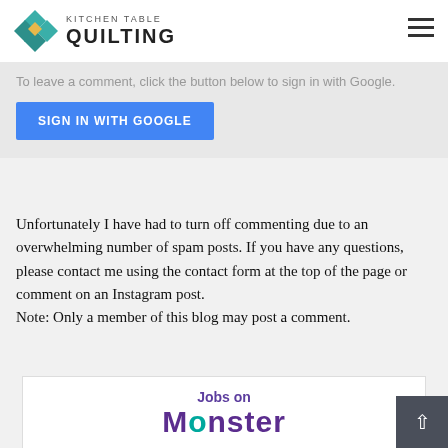KITCHEN TABLE QUILTING
To leave a comment, click the button below to sign in with Google.
SIGN IN WITH GOOGLE
Unfortunately I have had to turn off commenting due to an overwhelming number of spam posts. If you have any questions, please contact me using the contact form at the top of the page or comment on an Instagram post.
Note: Only a member of this blog may post a comment.
[Figure (logo): Jobs on Monster logo with purple 'Jobs on' text and large Monster wordmark in purple and teal]
^